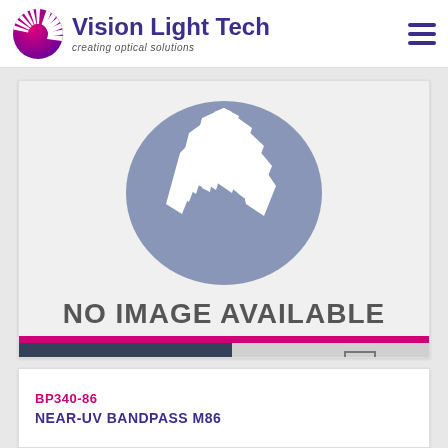Vision Light Tech — creating optical solutions
[Figure (logo): Circular logo with radiating white light rays on a blue-grey background representing Vision Light Tech, with text 'NO IMAGE AVAILABLE' below it]
MORE INFO
SHEET
BP340-86
NEAR-UV BANDPASS M86